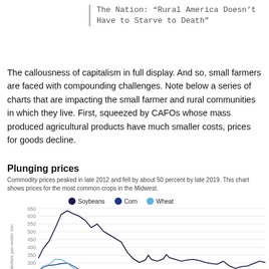The Nation: “Rural America Doesn’t Have to Starve to Death”
The callousness of capitalism in full display. And so, small farmers are faced with compounding challenges. Note below a series of charts that are impacting the small farmer and rural communities in which they live. First, squeezed by CAFOs whose mass produced agricultural products have much smaller costs, prices for goods decline.
Plunging prices
Commodity prices peaked in late 2012 and fell by about 50 percent by late 2019. This chart shows prices for the most common crops in the Midwest.
[Figure (line-chart): Line chart showing commodity prices for Soybeans, Corn, and Wheat from approximately 2010 to 2019. All three peaked around late 2012 and fell by about 50 percent by late 2019. Y-axis ranges from 100 to 650 U.S. dollars per metric ton.]